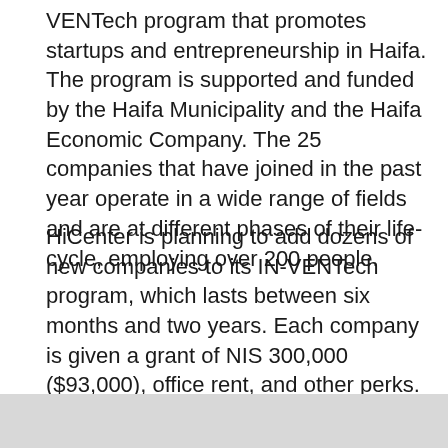VENTech program that promotes startups and entrepreneurship in Haifa. The program is supported and funded by the Haifa Municipality and the Haifa Economic Company. The 25 companies that have joined in the past year operate in a wide range of fields and are at different phases of their life-cycle, employing over 200 people.
HiCenter is planning to add dozens of new companies to its IN-VENTech program, which lasts between six months and two years. Each company is given a grant of NIS 300,000 ($93,000), office rent, and other perks. In total, the companies can receive grants of up to NIS 500,000 ($155,000) with their only commitment being to stay in Haifa for three years after joining the program.